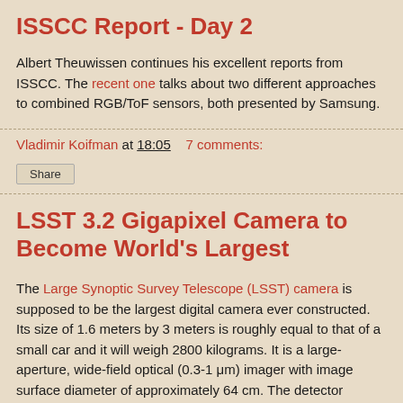ISSCC Report - Day 2
Albert Theuwissen continues his excellent reports from ISSCC. The recent one talks about two different approaches to combined RGB/ToF sensors, both presented by Samsung.
Vladimir Koifman at 18:05   7 comments:
Share
LSST 3.2 Gigapixel Camera to Become World's Largest
The Large Synoptic Survey Telescope (LSST) camera is supposed to be the largest digital camera ever constructed. Its size of 1.6 meters by 3 meters is roughly equal to that of a small car and it will weigh 2800 kilograms. It is a large-aperture, wide-field optical (0.3-1 μm) imager with image surface diameter of approximately 64 cm. The detector